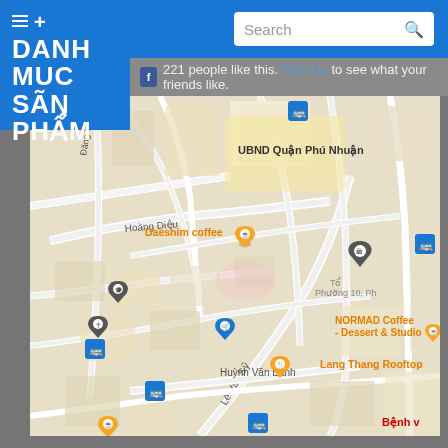[Figure (screenshot): Website screenshot showing a blue navigation header with hamburger menu, search box, and a Vietnamese product catalog logo overlay (DANH MUC SAN PHAM). Below is a Facebook social bar and a Google Maps view of Phu Nhuan district in Ho Chi Minh City, Vietnam, showing streets, landmarks including UBND Quan Phu Nhuan, Daeshim coffee, NORMAD Coffee - Dessert & Studio, Lang Thang Rooftop, streets Hoang Dieu, Le Van Sy, Huynh Van Banh, and various map pins.]
221 people like this. Sign Up to see what your friends like.